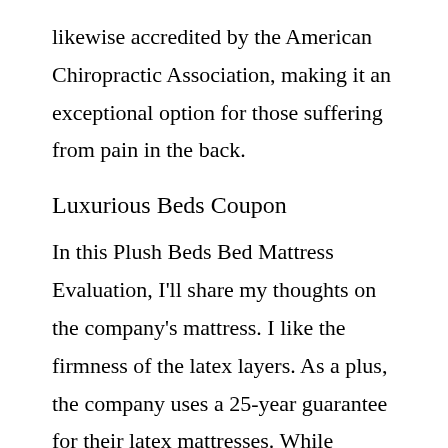likewise accredited by the American Chiropractic Association, making it an exceptional option for those suffering from pain in the back.
Luxurious Beds Coupon
In this Plush Beds Bed Mattress Evaluation, I'll share my thoughts on the company's mattress. I like the firmness of the latex layers. As a plus, the company uses a 25-year guarantee for their latex mattresses. While warranties usually hedge on the actual length of the guarantee, I like to understand that a business supports their